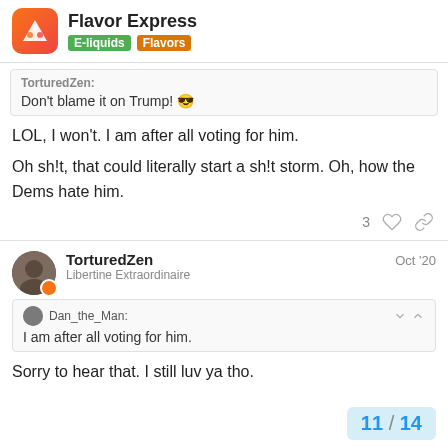Flavor Express | E-liquids | Flavors
TorturedZen:
Don't blame it on Trump! 😎
LOL, I won't. I am after all voting for him.
Oh sh!t, that could literally start a sh!t storm. Oh, how the Dems hate him.
3 ♡ 🔗
TorturedZen
Libertine Extraordinaire
Oct '20
Dan_the_Man:
I am after all voting for him.
Sorry to hear that. I still luv ya tho.
11 / 14